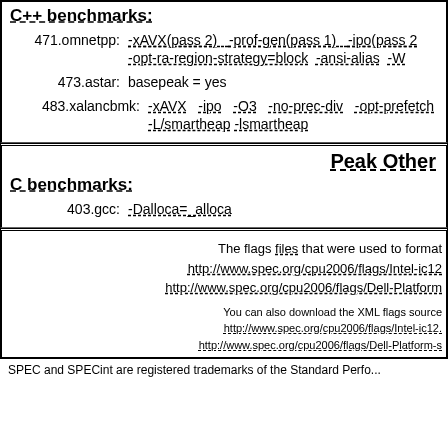C++ benchmarks:
471.omnetpp: -xAVX(pass 2) -prof-gen(pass 1) -ipo(pass 2) -opt-ra-region-strategy=block -ansi-alias -W...
473.astar: basepeak = yes
483.xalancbmk: -xAVX -ipo -O3 -no-prec-div -opt-prefetch -L/smartheap -lsmartheap
Peak Other
C benchmarks:
403.gcc: -Dalloca=_alloca
The flags files that were used to format this result can be found at: http://www.spec.org/cpu2006/flags/Intel-ic12... http://www.spec.org/cpu2006/flags/Dell-Platform...
You can also download the XML flags source: http://www.spec.org/cpu2006/flags/Intel-ic12... http://www.spec.org/cpu2006/flags/Dell-Platform-s...
SPEC and SPECint are registered trademarks of the Standard Perfo...